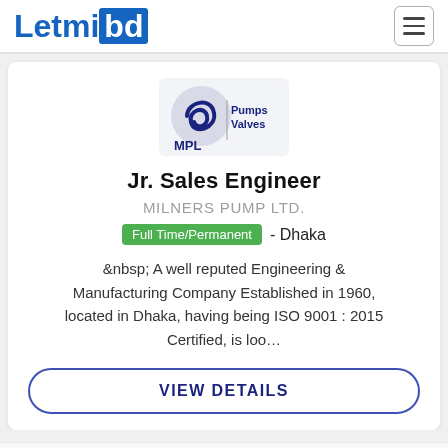Letmibd
[Figure (logo): MPL Pumps Valves company logo — circular swirl design with MPL text below and 'Pumps Valves' to the right]
Jr. Sales Engineer
MILNERS PUMP LTD.
Full Time/Permanent - Dhaka
&nbsp; A well reputed Engineering & Manufacturing Company Established in 1960, located in Dhaka, having being ISO 9001 : 2015 Certified, is loo…
VIEW DETAILS